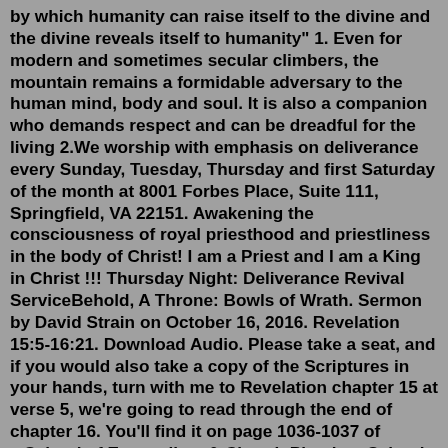by which humanity can raise itself to the divine and the divine reveals itself to humanity" 1. Even for modern and sometimes secular climbers, the mountain remains a formidable adversary to the human mind, body and soul. It is also a companion who demands respect and can be dreadful for the living 2.We worship with emphasis on deliverance every Sunday, Tuesday, Thursday and first Saturday of the month at 8001 Forbes Place, Suite 111, Springfield, VA 22151. Awakening the consciousness of royal priesthood and priestliness in the body of Christ! I am a Priest and I am a King in Christ !!! Thursday Night: Deliverance Revival ServiceBehold, A Throne: Bowls of Wrath. Sermon by David Strain on October 16, 2016. Revelation 15:5-16:21. Download Audio. Please take a seat, and if you would also take a copy of the Scriptures in your hands, turn with me to Revelation chapter 15 at verse 5, we're going to read through the end of chapter 16. You'll find it on page 1036-1037 of ...School of Evangelism & Church Planting. School of Spiritual Gifts. Di...